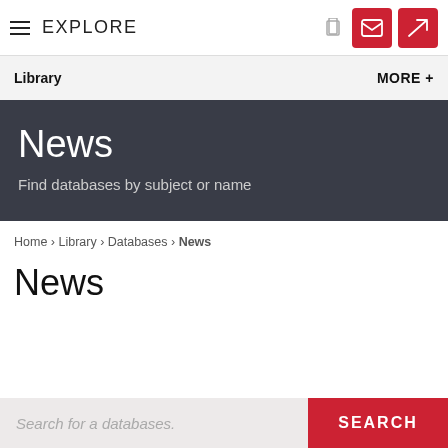EXPLORE
Library  MORE +
News
Find databases by subject or name
Home › Library › Databases › News
News
Search for a databases.  SEARCH